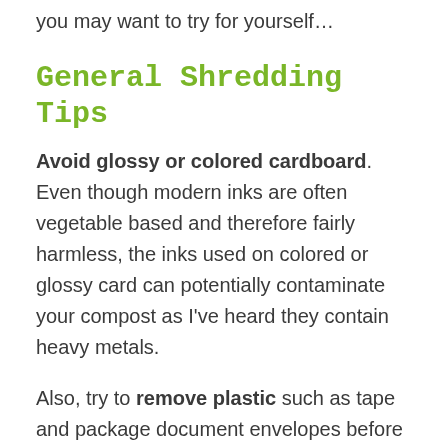you may want to try for yourself…
General Shredding Tips
Avoid glossy or colored cardboard. Even though modern inks are often vegetable based and therefore fairly harmless, the inks used on colored or glossy card can potentially contaminate your compost as I've heard they contain heavy metals.
Also, try to remove plastic such as tape and package document envelopes before you shred cardboard. Plastic is usually not biodegradable. And once it's been shredded